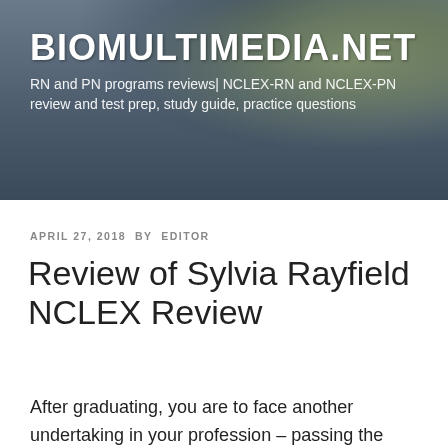BIOMULTIMEDIA.NET
RN and PN programs reviews| NCLEX-RN and NCLEX-PN review and test prep, study guide, practice questions
APRIL 27, 2018 BY EDITOR
Review of Sylvia Rayfield NCLEX Review
After graduating, you are to face another undertaking in your profession – passing the NCLEX! Preparing for test involves studying NCLEX review guides, answering sample tests and going through different source materials. You also have an option for classroom or online NCLEX review courses which have have become